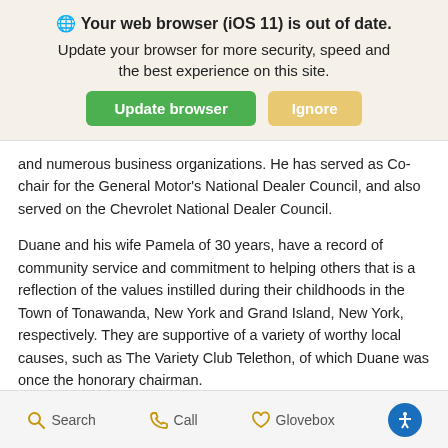[Figure (screenshot): Browser update warning banner with globe icon, bold heading 'Your web browser (iOS 11) is out of date.', subtitle 'Update your browser for more security, speed and the best experience on this site.', green 'Update browser' button and tan 'Ignore' button.]
and numerous business organizations. He has served as Co-chair for the General Motor's National Dealer Council, and also served on the Chevrolet National Dealer Council.
Duane and his wife Pamela of 30 years, have a record of community service and commitment to helping others that is a reflection of the values instilled during their childhoods in the Town of Tonawanda, New York and Grand Island, New York, respectively. They are supportive of a variety of worthy local causes, such as The Variety Club Telethon, of which Duane was once the honorary chairman.
Additionally, Duane and Pamela, along with their children, Lauren (age 28) and Shane (age 23), have played a large role in supporting
Search   Call   Glovebox   [accessibility icon]